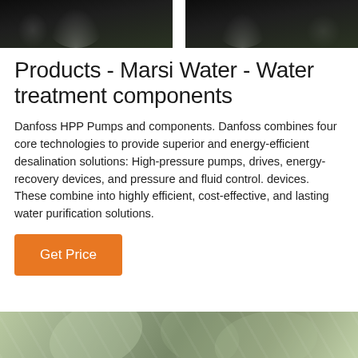[Figure (photo): Top portion of photo showing dark industrial pump or water treatment equipment against a green floor background, split into two panels with a white gap]
Products - Marsi Water - Water treatment components
Danfoss HPP Pumps and components. Danfoss combines four core technologies to provide superior and energy-efficient desalination solutions: High-pressure pumps, drives, energy-recovery devices, and pressure and fluid control. devices. These combine into highly efficient, cost-effective, and lasting water purification solutions.
Get Price
[Figure (photo): Bottom portion of photo showing green-tinted curved industrial equipment or pipes]